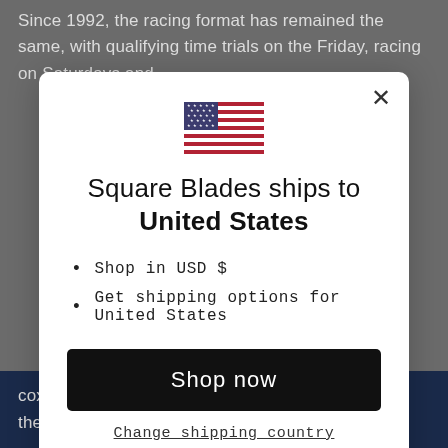Since 1992, the racing format has remained the same, with qualifying time trials on the Friday, racing on Saturdays and
[Figure (screenshot): Modal dialog showing US flag and 'Square Blades ships to United States' message with shop now button]
Shop in USD $
Get shipping options for United States
coxless 4s from the event, reducing the entries for the